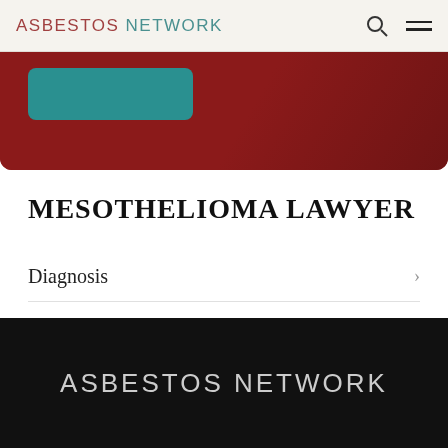ASBESTOS NETWORK
[Figure (screenshot): Red banner with teal button element visible at top of page content area]
MESOTHELIOMA LAWYER
Diagnosis
Treatment
ASBESTOS NETWORK